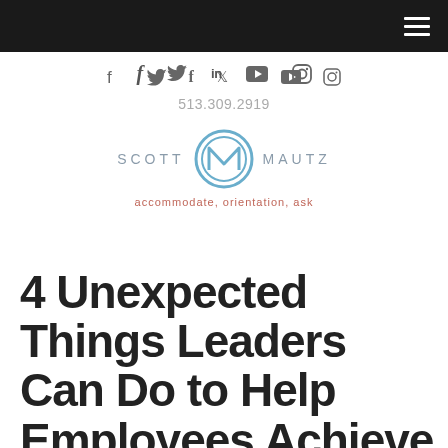f  y  in  ▶  Instagram
513.309.2919
[Figure (logo): Scott Mautz logo with circular M emblem and tagline 'accommodate, orientation, ask']
4 Unexpected Things Leaders Can Do to Help Employees Achieve Their Career Goals